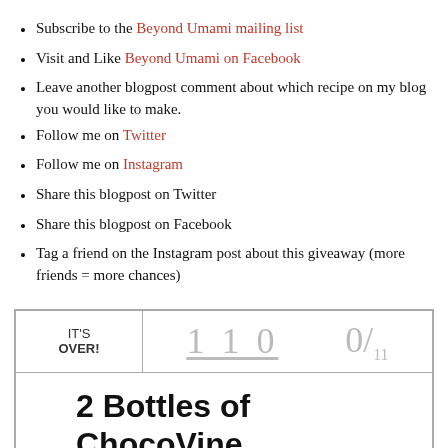Subscribe to the Beyond Umami mailing list
Visit and Like Beyond Umami on Facebook
Leave another blogpost comment about which recipe on my blog you would like to make.
Follow me on Twitter
Follow me on Instagram
Share this blogpost on Twitter
Share this blogpost on Facebook
Tag a friend on the Instagram post about this giveaway (more friends = more chances)
IT'S OVER! | 110 | 0/11
2 Bottles of ChocoVine